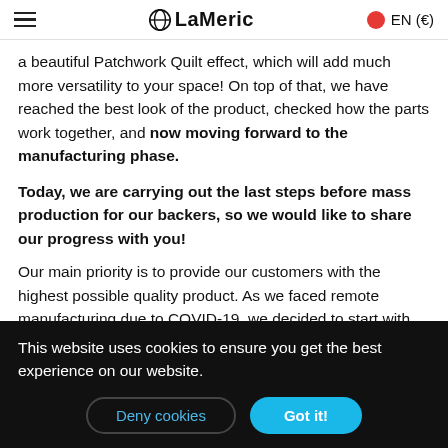LaMeric EN (€)
a beautiful Patchwork Quilt effect, which will add much more versatility to your space! On top of that, we have reached the best look of the product, checked how the parts work together, and now moving forward to the manufacturing phase.
Today, we are carrying out the last steps before mass production for our backers, so we would like to share our progress with you!
Our main priority is to provide our customers with the highest possible quality product. As we faced remote manufacturing due to COVID-19, we decided to start with
This website uses cookies to ensure you get the best experience on our website.